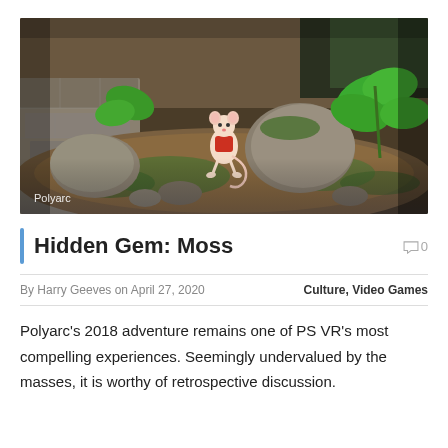[Figure (screenshot): Screenshot from the video game Moss showing a small mouse character with a red outfit standing on mossy rocks surrounded by green plants and stone steps in a VR adventure game environment. Watermark text 'Polyarc' is in the bottom left corner.]
Hidden Gem: Moss
By Harry Geeves on April 27, 2020   Culture, Video Games
Polyarc’s 2018 adventure remains one of PS VR’s most compelling experiences. Seemingly undervalued by the masses, it is worthy of retrospective discussion.